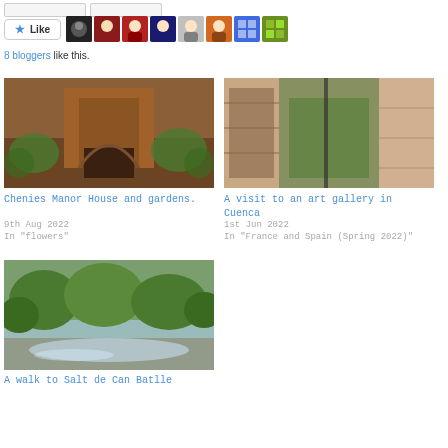[Figure (screenshot): Two UI input/button elements at the top of the page]
[Figure (screenshot): Like button with star icon and 8 blogger avatar thumbnails]
8 bloggers like this.
[Figure (photo): Photo of Chenies Manor House brick archway gate with plants]
Chenies Manor House and gardens.
9th Aug 2022
In "flowers"
[Figure (photo): Photo of stone walls in an art gallery in Cuenca]
A visit to an art gallery in Cuenca
1st Jun 2022
In "France and Spain (Spring 2022)"
[Figure (photo): Photo of trees and water reflection - Salt de Can Batlle]
A walk to Salt de Can Batlle